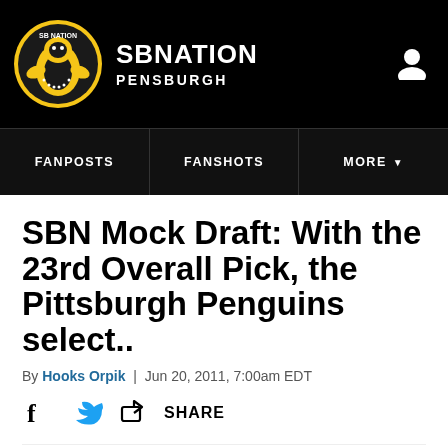SB NATION PENSBURGH
FANPOSTS | FANSHOTS | MORE
SBN Mock Draft: With the 23rd Overall Pick, the Pittsburgh Penguins select..
By Hooks Orpik | Jun 20, 2011, 7:00am EDT
SHARE
Listen to this article